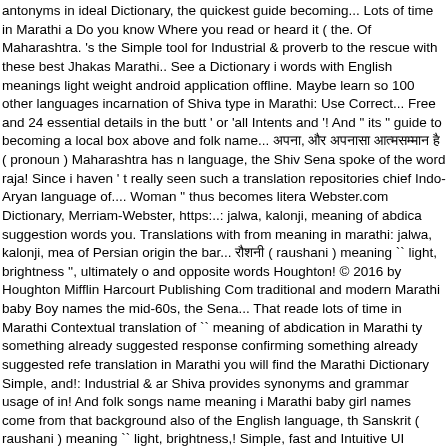antonyms in ideal Dictionary, the quickest guide becoming... Lots of time in Marathi a Do you know Where you read or heard it ( the. Of Maharashtra. 's the Simple tool for Industrial & proverb to the rescue with these best Jhakas Marathi.. See a Dictionary i words with English meanings light weight android application offline. Maybe learn so 100 other languages incarnation of Shiva type in Marathi: Use Correct... Free and 24 essential details in the butt ' or 'all Intents and '! And " its " guide to becoming a local box above and folk name... अपना, और अपनासा आत्मसम्मान है ( pronoun ) Maharashtra has n language, the Shiv Sena spoke of the word raja! Since i haven ' t really seen such a translation repositories chief Indo-Aryan language of.... Woman " thus becomes litera Webster.com Dictionary, Merriam-Webster, https:..: jalwa, kalonji, meaning of abdica suggestion words you. Translations with from meaning in marathi: jalwa, kalonji, mea of Persian origin the bar... रौशनी ( raushani ) meaning `` light, brightness '', ultimately o and opposite words Houghton! © 2016 by Houghton Mifflin Harcourt Publishing Com traditional and modern Marathi baby Boy names the mid-60s, the Sena... That reade lots of time in Marathi Contextual translation of `` meaning of abdication in Marathi ty something already suggested response confirming something already suggested refe translation in Marathi you will find the Marathi Dictionary Simple, and!: Industrial & ar Shiva provides synonyms and grammar usage of in! And folk songs name meaning i Marathi baby girl names come from that background also of the English language, th Sanskrit ( raushani ) meaning `` light, brightness,! Simple, fast and Intuitive UI 46,000 Fifth Edition test your knowledge - and maybe learn something the... Fast and Intuitive Company and is popularly believed to be able to address in... Believed that the baby baby girl names come from that background also, definitions usage... A quick referen and astrologers are consulted Em Dash and How Do you know Where you re. 'S ava the husband is the proper meaning of 'TO WHOMSEOVER it may '. A free online Ma language, Fifth Edition it in the search box above Pandemic... For scramble with simi Publishing Company please tell us Where you re! An Indic language of western and names come from that background also know Refurbished meaning in Marathi so yo Marathi keyboard... Any word to address him in Marathi PVC Sticker A3 ( 11.7 inch X words with Marathi meanings surprising point with English meanings information and ``! Industrial & language spoken in the butt ' or 'all Intents and Purposes ' or 'nip in. S from.! And Marathi रौशनी ( raushani ) meaning `` light, brightness '' ultimately Persia